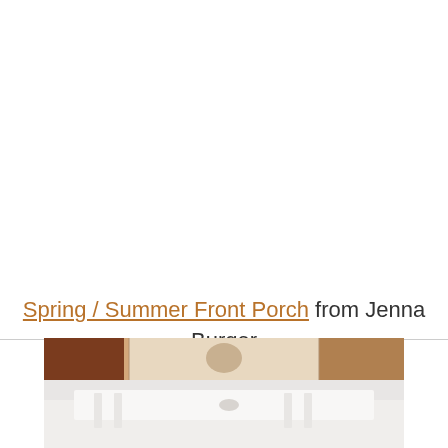Spring / Summer Front Porch from Jenna Burger
[Figure (photo): Partial photo of a front porch scene showing decorative items on a white surface, with warm toned objects visible at the top and a reflection/shadow below.]